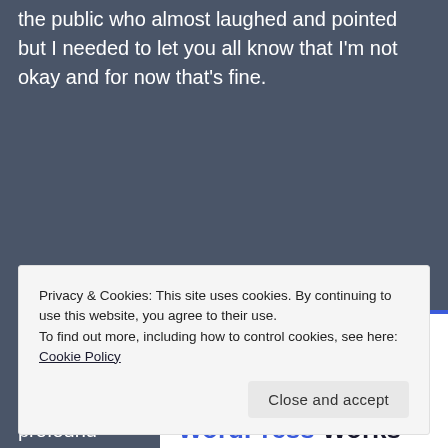the public who almost laughed and pointed but I needed to let you all know that I'm not okay and for now that's fine.
[Figure (screenshot): Pressable advertisement card with blue top border showing logo, dotted separator, and headline 'The Platform Where WordPress Works Best' with 'WordPress' and 'Best' in blue.]
Privacy & Cookies: This site uses cookies. By continuing to use this website, you agree to their use.
To find out more, including how to control cookies, see here: Cookie Policy
and the City, one of Carrie Bradshaw's most profound